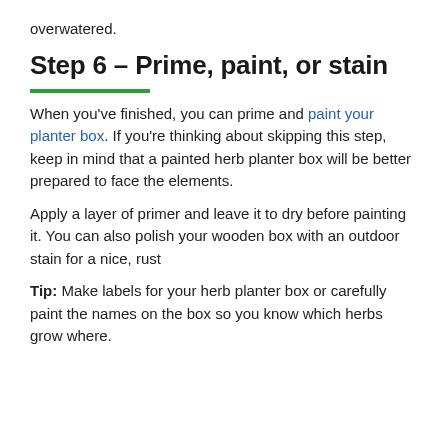overwatered.
Step 6 – Prime, paint, or stain
When you've finished, you can prime and paint your planter box. If you're thinking about skipping this step, keep in mind that a painted herb planter box will be better prepared to face the elements.
Apply a layer of primer and leave it to dry before painting it. You can also polish your wooden box with an outdoor stain for a nice, rust
BACK TO TOP
Tip: Make labels for your herb planter box or carefully paint the names on the box so you know which herbs grow where.